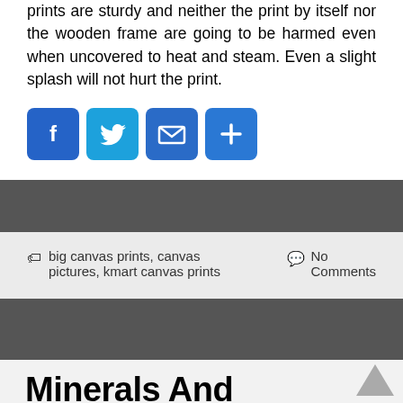prints are sturdy and neither the print by itself nor the wooden frame are going to be harmed even when uncovered to heat and steam. Even a slight splash will not hurt the print.
[Figure (illustration): Social share icons: Facebook (blue F), Twitter (blue bird), Email (blue envelope), Share/Plus (blue plus sign)]
🏷 big canvas prints, canvas pictures, kmart canvas prints	💬 No Comments
Minerals And Vitamins As Health Supplements And Medicine